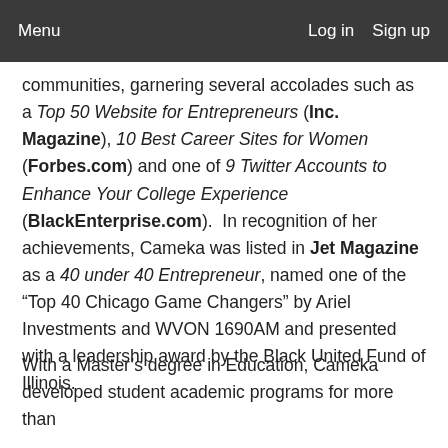Menu    Log in   Sign up
communities, garnering several accolades such as a Top 50 Website for Entrepreneurs (Inc. Magazine), 10 Best Career Sites for Women (Forbes.com) and one of 9 Twitter Accounts to Enhance Your College Experience (BlackEnterprise.com).  In recognition of her achievements, Cameka was listed in Jet Magazine as a 40 under 40 Entrepreneur, named one of the “Top 40 Chicago Game Changers” by Ariel Investments and WVON 1690AM and presented with a leadership award by the Black United Fund of Illinois.
With a Master’s degree in Education, Cameka developed student academic programs for more than